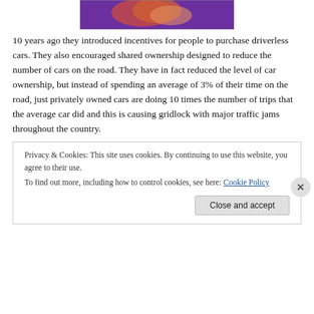[Figure (photo): Partial image showing what appears to be a medical or anatomical illustration with red/orange and purple colors, cropped at top of page]
10 years ago they introduced incentives for people to purchase driverless cars. They also encouraged shared ownership designed to reduce the number of cars on the road. They have in fact reduced the level of car ownership, but instead of spending an average of 3% of their time on the road, just privately owned cars are doing 10 times the number of trips that the average car did and this is causing gridlock with major traffic jams throughout the country.
Privacy & Cookies: This site uses cookies. By continuing to use this website, you agree to their use.
To find out more, including how to control cookies, see here: Cookie Policy